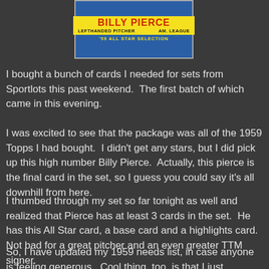[Figure (photo): 1959 Topps Billy Pierce baseball card. Yellow band with red text 'BILLY PIERCE', subtitle 'LEFTHANDED PITCHER  AM. LEAGUE', blue band with yellow text ''59 ALL STAR SELECTION']
I bought a bunch of cards I needed for sets from Sportlots this past weekend.  The first batch of which came in this evening.
I was excited to see that the package was all of the 1959 Topps I had bought.  I didn't get any stars, but I did pick up this high number Billy Pierce.  Actually, this pierce is the final card in the set, so I guess you could say it's all downhill from here.
I thumbed through my set so far tonight as well and realized that Pierce has at least 3 cards in the set.  He has this All Star card, a base card and a highlights card.  Not bad for a great pitcher and an even greater TTM signer.
So, I have updated my 1959 needs list, in case anyone is feeling generous.  Cool thing, too, is that I just reached a deal on Instagram tonight for 11 more, so I'm knocking quite a few of the ones. That will give me an even greater need to...